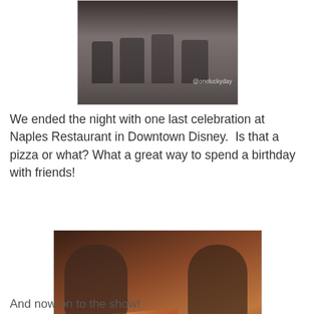[Figure (photo): Top portion of a group photo at a restaurant or event, showing people seated, with @oneluckyday watermark in bottom right.]
We ended the night with one last celebration at Naples Restaurant in Downtown Disney.  Is that a pizza or what?  What a great way to spend a birthday with friends!
[Figure (photo): Two men smiling at a restaurant table with a large rectangular pizza in front of them, drinks and plates visible, @oneluckyday watermark in bottom right.]
And now on to the show!